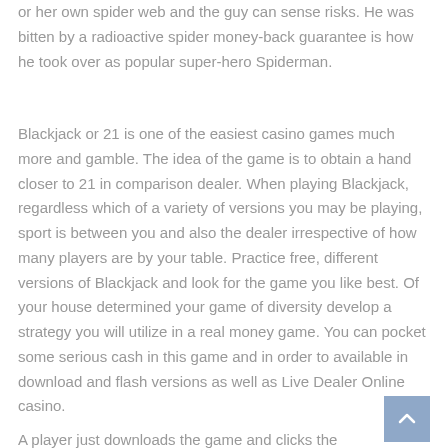or her own spider web and the guy can sense risks. He was bitten by a radioactive spider money-back guarantee is how he took over as popular super-hero Spiderman.
Blackjack or 21 is one of the easiest casino games much more and gamble. The idea of the game is to obtain a hand closer to 21 in comparison dealer. When playing Blackjack, regardless which of a variety of versions you may be playing, sport is between you and also the dealer irrespective of how many players are by your table. Practice free, different versions of Blackjack and look for the game you like best. Of your house determined your game of diversity develop a strategy you will utilize in a real money game. You can pocket some serious cash in this game and in order to available in download and flash versions as well as Live Dealer Online casino.
A player just downloads the game and clicks the